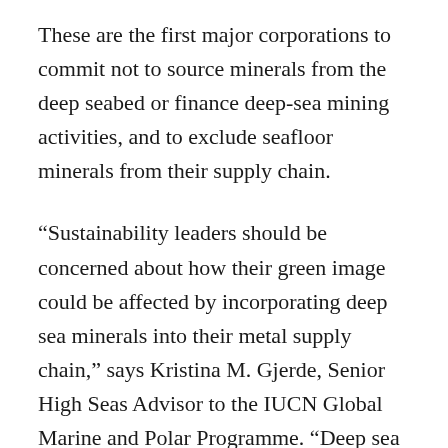These are the first major corporations to commit not to source minerals from the deep seabed or finance deep-sea mining activities, and to exclude seafloor minerals from their supply chain.
“Sustainability leaders should be concerned about how their green image could be affected by incorporating deep sea minerals into their metal supply chain,” says Kristina M. Gjerde, Senior High Seas Advisor to the IUCN Global Marine and Polar Programme. “Deep sea minerals are not solving the problem of harmful impacts, just relocating it elsewhere, where the affected communities are less able to speak for themselves. Moreover, it should